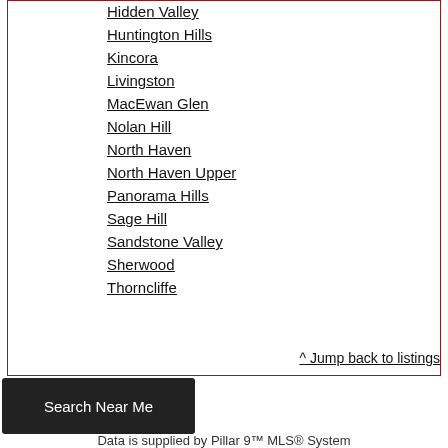Hidden Valley
Huntington Hills
Kincora
Livingston
MacEwan Glen
Nolan Hill
North Haven
North Haven Upper
Panorama Hills
Sage Hill
Sandstone Valley
Sherwood
Thorncliffe
^ Jump back to listings
Search Near Me
Data is supplied by Pillar 9™ MLS® System